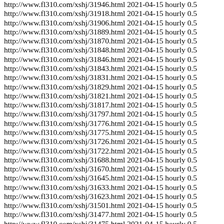http://www.fl310.com/xshj/31946.html 2021-04-15 hourly 0.5
http://www.fl310.com/xshj/31918.html 2021-04-15 hourly 0.5
http://www.fl310.com/xshj/31906.html 2021-04-15 hourly 0.5
http://www.fl310.com/xshj/31889.html 2021-04-15 hourly 0.5
http://www.fl310.com/xshj/31870.html 2021-04-15 hourly 0.5
http://www.fl310.com/xshj/31848.html 2021-04-15 hourly 0.5
http://www.fl310.com/xshj/31846.html 2021-04-15 hourly 0.5
http://www.fl310.com/xshj/31843.html 2021-04-15 hourly 0.5
http://www.fl310.com/xshj/31831.html 2021-04-15 hourly 0.5
http://www.fl310.com/xshj/31829.html 2021-04-15 hourly 0.5
http://www.fl310.com/xshj/31821.html 2021-04-15 hourly 0.5
http://www.fl310.com/xshj/31817.html 2021-04-15 hourly 0.5
http://www.fl310.com/xshj/31797.html 2021-04-15 hourly 0.5
http://www.fl310.com/xshj/31776.html 2021-04-15 hourly 0.5
http://www.fl310.com/xshj/31775.html 2021-04-15 hourly 0.5
http://www.fl310.com/xshj/31726.html 2021-04-15 hourly 0.5
http://www.fl310.com/xshj/31722.html 2021-04-15 hourly 0.5
http://www.fl310.com/xshj/31688.html 2021-04-15 hourly 0.5
http://www.fl310.com/xshj/31670.html 2021-04-15 hourly 0.5
http://www.fl310.com/xshj/31645.html 2021-04-15 hourly 0.5
http://www.fl310.com/xshj/31633.html 2021-04-15 hourly 0.5
http://www.fl310.com/xshj/31623.html 2021-04-15 hourly 0.5
http://www.fl310.com/xshj/31501.html 2021-04-15 hourly 0.5
http://www.fl310.com/xshj/31477.html 2021-04-15 hourly 0.5
http://www.fl310.com/xshj/31475.html 2021-04-15 hourly 0.5
http://www.fl310.com/xshj/31448.html 2021-04-15 hourly 0.5